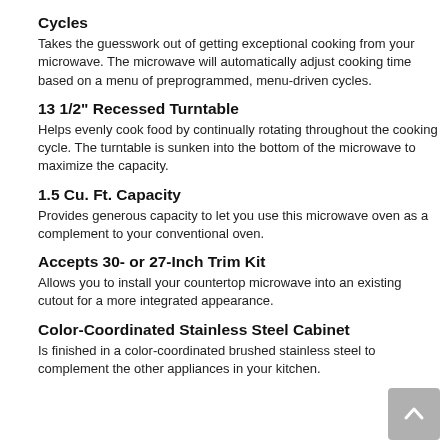Cycles
Takes the guesswork out of getting exceptional cooking from your microwave. The microwave will automatically adjust cooking time based on a menu of preprogrammed, menu-driven cycles.
13 1/2" Recessed Turntable
Helps evenly cook food by continually rotating throughout the cooking cycle. The turntable is sunken into the bottom of the microwave to maximize the capacity.
1.5 Cu. Ft. Capacity
Provides generous capacity to let you use this microwave oven as a complement to your conventional oven.
Accepts 30- or 27-Inch Trim Kit
Allows you to install your countertop microwave into an existing cutout for a more integrated appearance.
Color-Coordinated Stainless Steel Cabinet
Is finished in a color-coordinated brushed stainless steel to complement the other appliances in your kitchen.